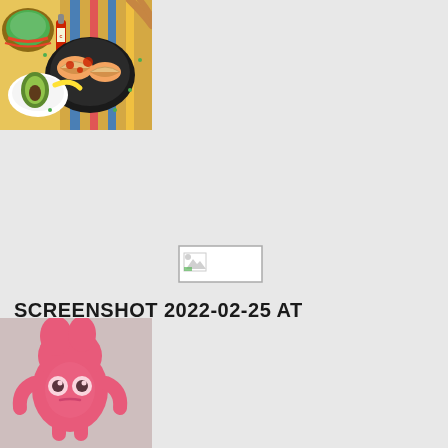[Figure (illustration): Colorful illustration of a food spread on a table including a bowl of guacamole, a plate of food with hot sauce bottle, avocado, and various ingredients on a yellow/wooden table surface]
[Figure (screenshot): Broken/missing image placeholder icon - small rectangle with a partially loaded image icon]
SCREENSHOT 2022-02-25 AT 10.33.17.PNG
[Figure (illustration): 3D rendered pink cartoon character resembling a blob or creature with eyes and legs, standing upright]